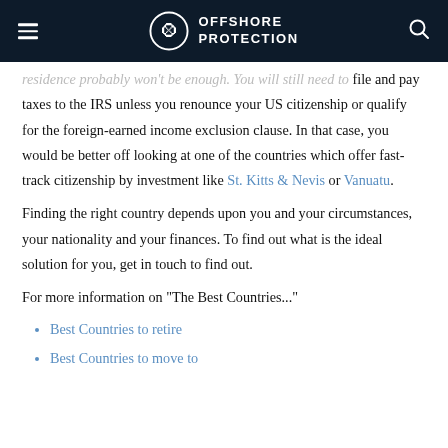OFFSHORE PROTECTION
residence probably won't be enough. You will still need to file and pay taxes to the IRS unless you renounce your US citizenship or qualify for the foreign-earned income exclusion clause. In that case, you would be better off looking at one of the countries which offer fast-track citizenship by investment like St. Kitts & Nevis or Vanuatu.
Finding the right country depends upon you and your circumstances, your nationality and your finances. To find out what is the ideal solution for you, get in touch to find out.
For more information on "The Best Countries..."
Best Countries to retire
Best Countries to move to